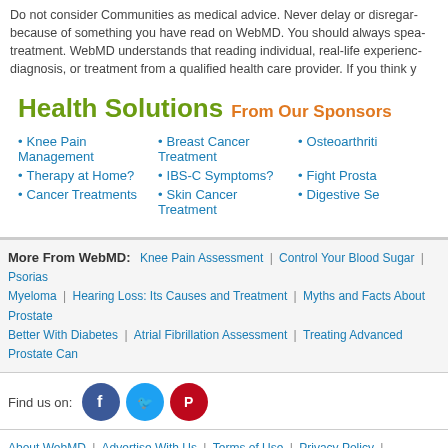Do not consider Communities as medical advice. Never delay or disregard because of something you have read on WebMD. You should always speak treatment. WebMD understands that reading individual, real-life experience diagnosis, or treatment from a qualified health care provider. If you think y
Health Solutions From Our Sponsors
Knee Pain Management
Breast Cancer Treatment
Osteoarthriti
Therapy at Home?
IBS-C Symptoms?
Fight Prosta
Cancer Treatments
Skin Cancer Treatment
Digestive Se
More From WebMD: Knee Pain Assessment | Control Your Blood Sugar | Psorias Myeloma | Hearing Loss: Its Causes and Treatment | Myths and Facts About Prostate Better With Diabetes | Atrial Fibrillation Assessment | Treating Advanced Prostate Can
Find us on:
About WebMD | Advertise With Us | Terms of Use | Privacy Policy | Advertising Policy | Site Map | Careers | Contact Us | Medscape Reference | eMedicineHealth | RxList | M BootsWebMD | WebMD Corporate | WebMD Health Services | First Aid | WebMD Maga WebMD Mobile | Newsletters | Dictionary | Physician Directory
©2005-2016 WebMD, LLC. All rights reserved. WebMD does not provide medical advice, diagnosis or treatment. See additional informa